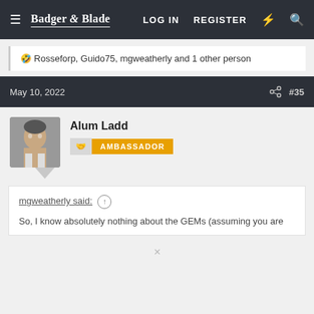Badger & Blade | LOG IN | REGISTER
🤣 Rosseforp, Guido75, mgweatherly and 1 other person
May 10, 2022 #35
Alum Ladd AMBASSADOR
mgweatherly said: ↑
So, I know absolutely nothing about the GEMs (assuming you are